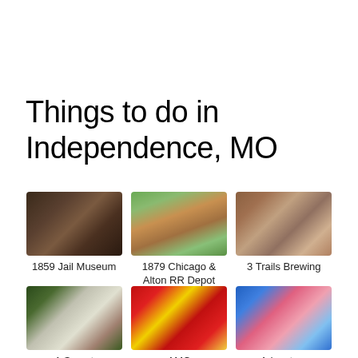Things to do in Independence, MO
[Figure (photo): Interior of 1859 Jail Museum]
1859 Jail Museum
[Figure (photo): Exterior of 1879 Chicago & Alton RR Depot]
1879 Chicago & Alton RR Depot
[Figure (photo): Interior of 3 Trails Brewing]
3 Trails Brewing
[Figure (photo): A Secret garden wedding venue photo]
A Secret
[Figure (photo): AMC movie theater popcorn buckets]
AMC
[Figure (photo): Adventure party venue aerial view]
Adventure